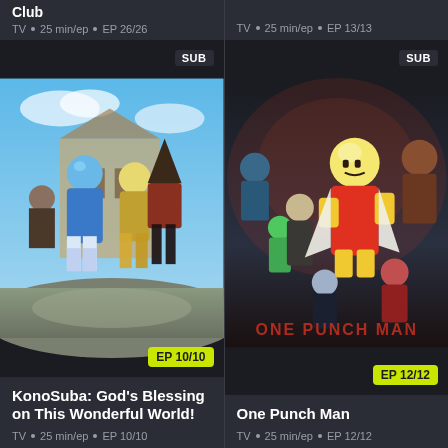Club
TV • 25 min/ep • EP 26/26
TV • 25 min/ep • EP 13/13
[Figure (illustration): KonoSuba anime artwork showing colorful fantasy characters running, with SUB badge top-right and EP 10/10 badge bottom-right]
[Figure (illustration): One Punch Man anime artwork showing superhero characters including bald hero, with SUB badge top-right and EP 12/12 badge bottom-right]
KonoSuba: God's Blessing on This Wonderful World!
TV • 25 min/ep • EP 10/10
One Punch Man
TV • 25 min/ep • EP 12/12